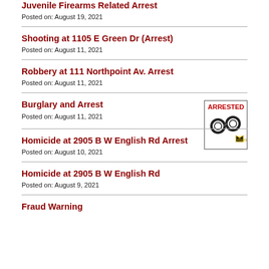Juvenile Firearms Related Arrest
Posted on: August 19, 2021
Shooting at 1105 E Green Dr (Arrest)
Posted on: August 11, 2021
Robbery at 111 Northpoint Av. Arrest
Posted on: August 11, 2021
Burglary and Arrest
Posted on: August 11, 2021
[Figure (illustration): ARRESTED image with handcuffs and police badge]
Homicide at 2905 B W English Rd Arrest
Posted on: August 10, 2021
Homicide at 2905 B W English Rd
Posted on: August 9, 2021
Fraud Warning